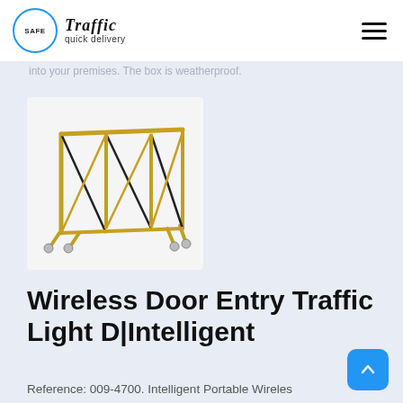SAFE Traffic quick delivery
into your premises. The box is weatherproof.
[Figure (photo): A yellow and black portable expandable/accordion-style metal barrier on wheels, shown in an extended/zigzag configuration against a white background.]
Wireless Door Entry Traffic Light D|Intelligent
Reference: 009-4700. Intelligent Portable Wireless Controller for the Wireless Entry Control System,